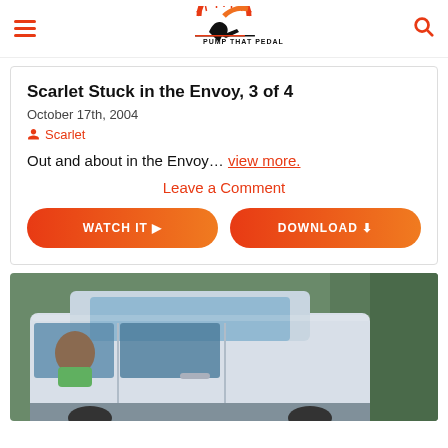Pump That Pedal — site header with hamburger menu, logo, and search icon
Scarlet Stuck in the Envoy, 3 of 4
October 17th, 2004
Scarlet
Out and about in the Envoy… view more.
Leave a Comment
[Figure (photo): Photo of a white SUV (GMC Envoy) parked near trees, with a person visible through the window wearing a green top]
WATCH IT  DOWNLOAD